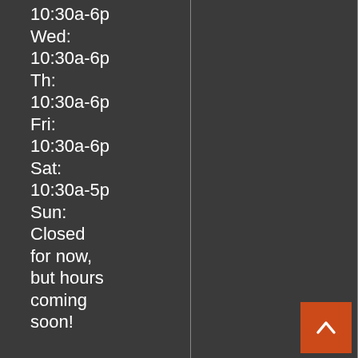10:30a-6p Wed: 10:30a-6p Th: 10:30a-6p Fri: 10:30a-6p Sat: 10:30a-5p Sun: Closed for now, but hours coming soon!